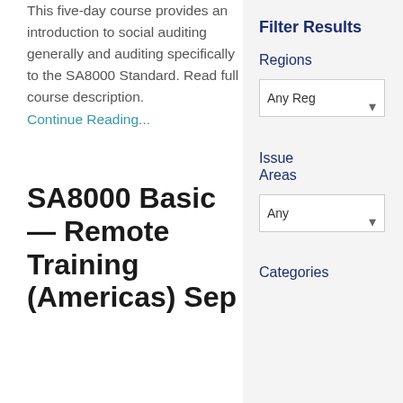This five-day course provides an introduction to social auditing generally and auditing specifically to the SA8000 Standard. Read full course description.
Continue Reading...
SA8000 Basic — Remote Training (Americas) Sep
Filter Results
Regions
Any Reg
Issue Areas
Any
Categories